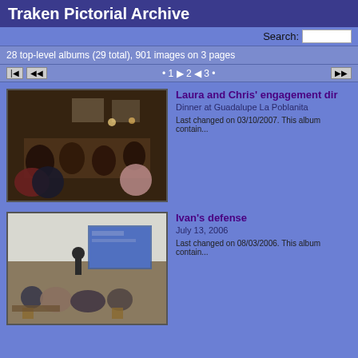Traken Pictorial Archive
Search:
28 top-level albums (29 total), 901 images on 3 pages
• 1 ▶ 2 ◀ 3 •
[Figure (photo): Group dinner photo at Guadalupe La Poblanita, people seated around a long table]
Laura and Chris' engagement dir
Dinner at Guadalupe La Poblanita
Last changed on 03/10/2007. This album contain...
[Figure (photo): Academic defense presentation, people in a lecture room with projector screen]
Ivan's defense
July 13, 2006
Last changed on 08/03/2006. This album contain...